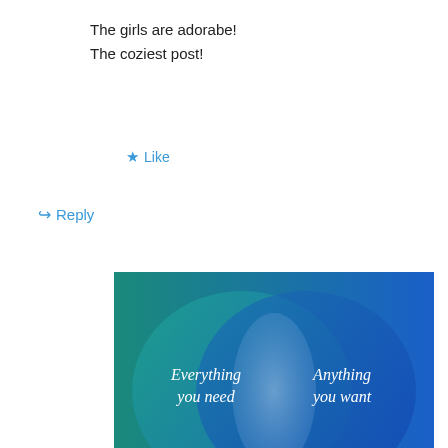The girls are adorabe!
The coziest post!
★ Like
↪ Reply
[Figure (illustration): Venn diagram showing two overlapping circles on a blue/teal gradient background. Left circle (teal) labeled 'Everything you need', right circle (blue) labeled 'Anything you want'. Circles overlap in the center with a lighter blue ellipse.]
Privacy & Cookies: This site uses cookies. By continuing to use this website, you agree to their use.
To find out more, including how to control cookies, see here: Cookie Policy
Close and accept